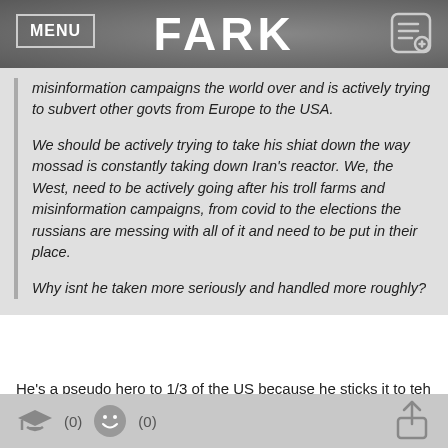MENU | FARK
misinformation campaigns the world over and is actively trying to subvert other govts from Europe to the USA.

We should be actively trying to take his shiat down the way mossad is constantly taking down Iran's reactor. We, the West, need to be actively going after his troll farms and misinformation campaigns, from covid to the elections the russians are messing with all of it and need to be put in their place.

Why isnt he taken more seriously and handled more roughly?
He's a pseudo hero to 1/3 of the US because he sticks it to teh ghey.

/lol sticks it to.